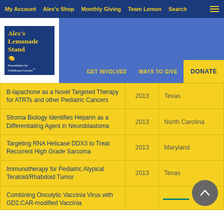My Account  Alex's Shop  Monthly Giving  Team Lemon  Search
[Figure (logo): Alex's Lemonade Stand Foundation for Childhood Cancer logo]
GET INVOLVED    WAYS TO GIVE    DONATE
|  | Year | State |
| --- | --- | --- |
| B-lapachone as a Novel Targeted Therapy for ATRTs and other Pediatric Cancers | 2013 | Texas |
| Stroma Biology Identifies Heparin as a Differentiating Agent in Neuroblastoma | 2013 | North Carolina |
| Targeting RNA Helicase DDX3 to Treat Recurrent High Grade Sarcoma | 2013 | Maryland |
| Immunotherapy for Pediatric Atypical Teratoid/Rhabdoid Tumor | 2013 | Texas |
| Combining Oncolytic Vaccinia Virus with GD2.CAR-modified Vaccinia |  |  |